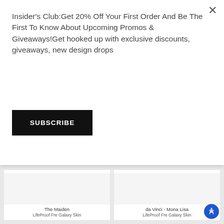Insider's Club:Get 20% Off Your First Order And Be The First To Know About Upcoming Promos & Giveaways!Get hooked up with exclusive discounts, giveaways, new design drops
SUBSCRIBE
[Figure (photo): White blank product card for 'The Maiden - LifeProof Fre Galaxy Skin']
[Figure (photo): White blank product card for 'da Vinci - Mona Lisa - LifeProof Fre Galaxy Skin']